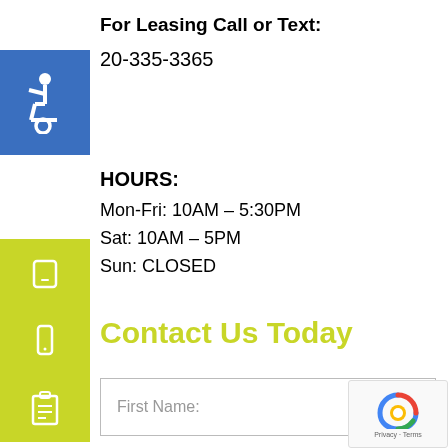For Leasing Call or Text:
20-335-3365
[Figure (illustration): Blue square with white wheelchair accessibility icon]
HOURS:
Mon-Fri: 10AM – 5:30PM
Sat: 10AM – 5PM
Sun: CLOSED
[Figure (illustration): Lime green square with white phone icon]
[Figure (illustration): Lime green square with white mobile phone icon]
Contact Us Today
[Figure (illustration): Lime green square with white clipboard icon]
First Name:
Last Name: